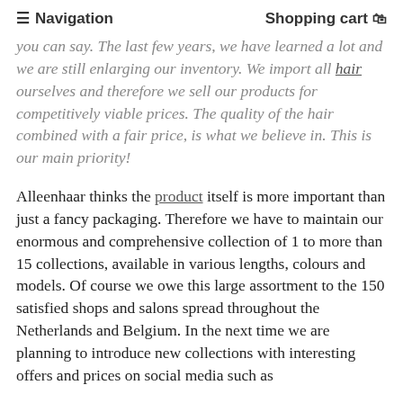≡ Navigation    Shopping cart 🛒
you can say. The last few years, we have learned a lot and we are still enlarging our inventory. We import all hair ourselves and therefore we sell our products for competitively viable prices. The quality of the hair combined with a fair price, is what we believe in. This is our main priority!
Alleenhaar thinks the product itself is more important than just a fancy packaging. Therefore we have to maintain our enormous and comprehensive collection of 1 to more than 15 collections, available in various lengths, colours and models. Of course we owe this large assortment to the 150 satisfied shops and salons spread throughout the Netherlands and Belgium. In the next time we are planning to introduce new collections with interesting offers and prices on social media such as